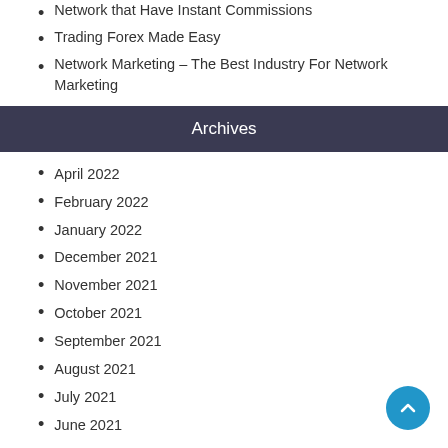Network that Have Instant Commissions
Trading Forex Made Easy
Network Marketing – The Best Industry For Network Marketing
Archives
April 2022
February 2022
January 2022
December 2021
November 2021
October 2021
September 2021
August 2021
July 2021
June 2021
May 2021
April 2021
March 2021
February 2021
January 2021